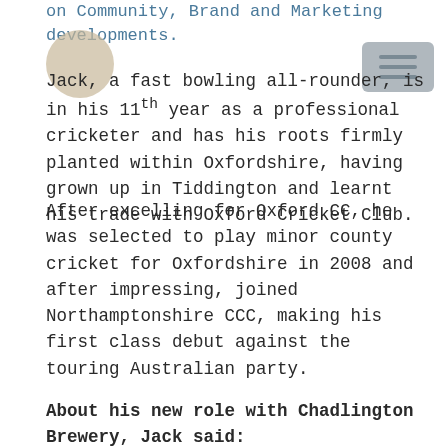on Community, Brand and Marketing developments.
Jack, a fast bowling all-rounder, is in his 11th year as a professional cricketer and has his roots firmly planted within Oxfordshire, having grown up in Tiddington and learnt his trade with Oxford Cricket Club.
After excelling for Oxford CC, he was selected to play minor county cricket for Oxfordshire in 2008 and after impressing, joined Northamptonshire CCC, making his first class debut against the touring Australian party.
Soon becoming infamous as the ‘Headband Warrior’, Jack joined Yorkshire in 2012 and at the end of last season clocked up the impressive feat of his 100th first class match.
About his new role with Chadlington Brewery, Jack said: